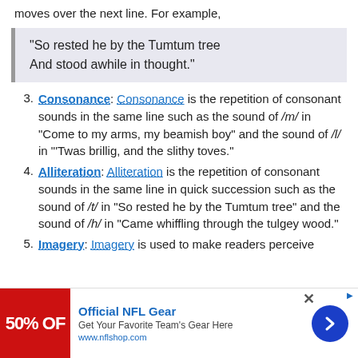moves over the next line. For example,
“So rested he by the Tumtum tree
And stood awhile in thought.”
3. Consonance: Consonance is the repetition of consonant sounds in the same line such as the sound of /m/ in “Come to my arms, my beamish boy” and the sound of /l/ in “’Twas brillig, and the slithy toves.”
4. Alliteration: Alliteration is the repetition of consonant sounds in the same line in quick succession such as the sound of /t/ in “So rested he by the Tumtum tree” and the sound of /h/ in “Came whiffling through the tulgey wood.”
5. Imagery: Imagery is used to make readers perceive
[Figure (infographic): Advertisement banner for Official NFL Gear: 50% OFF, Get Your Favorite Team's Gear Here, www.nflshop.com, with a blue arrow button and close icon.]